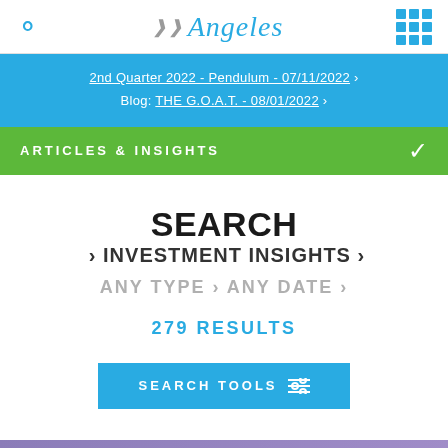Angeles
2nd Quarter 2022 - Pendulum - 07/11/2022 >
Blog: THE G.O.A.T. - 08/01/2022 >
ARTICLES & INSIGHTS
SEARCH › INVESTMENT INSIGHTS ›
ANY TYPE › ANY DATE ›
279 RESULTS
SEARCH TOOLS